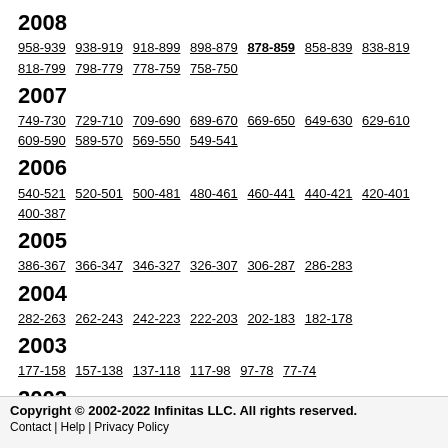2008
958-939 938-919 918-899 898-879 878-859 858-839 838-819 818-799 798-779 778-759 758-750
2007
749-730 729-710 709-690 689-670 669-650 649-630 629-610 609-590 589-570 569-550 549-541
2006
540-521 520-501 500-481 480-461 460-441 440-421 420-401 400-387
2005
386-367 366-347 346-327 326-307 306-287 286-283
2004
282-263 262-243 242-223 222-203 202-183 182-178
2003
177-158 157-138 137-118 117-98 97-78 77-74
2002
73-54 53-34 33-14 13-1
Copyright © 2002-2022 Infinitas LLC. All rights reserved. Contact | Help | Privacy Policy